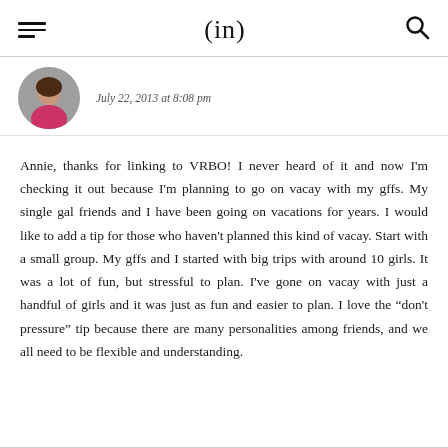(in)
July 22, 2013 at 8:08 pm
Annie, thanks for linking to VRBO! I never heard of it and now I'm checking it out because I'm planning to go on vacay with my gffs. My single gal friends and I have been going on vacations for years. I would like to add a tip for those who haven't planned this kind of vacay. Start with a small group. My gffs and I started with big trips with around 10 girls. It was a lot of fun, but stressful to plan. I've gone on vacay with just a handful of girls and it was just as fun and easier to plan. I love the “don't pressure” tip because there are many personalities among friends, and we all need to be flexible and understanding.